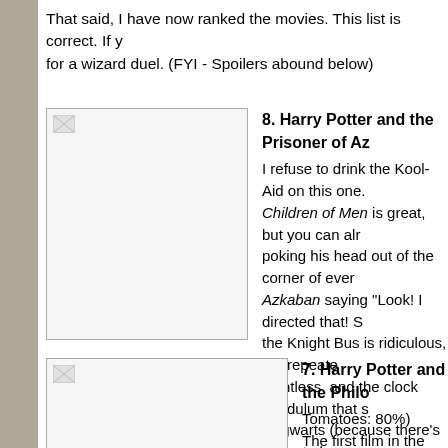That said, I have now ranked the movies. This list is correct. If y... for a wizard duel. (FYI - Spoilers abound below)
[Figure (photo): Placeholder image for Harry Potter and the Prisoner of Azkaban]
8. Harry Potter and the Prisoner of Az...
I refuse to drink the Kool-Aid on this one. Children of Men is great, but you can alr... poking his head out of the corner of eve... Azkaban saying "Look! I directed that! S... the Knight Bus is ridiculous, the repeate... pointless, and the clock pendulum that s... Hogwarts (because there's going to be a... embarrassing, heavy-handed symbolism...
[Figure (photo): Placeholder image for Harry Potter and the Philosopher's Stone]
7. Harry Potter and the Philo...
Tomatoes: 80%)
The first film in the series pres... made a conservative choice in... director's chair. A lot of people... adaptation was too "safe." Wh... entertainment and established... that they had earned the audie...